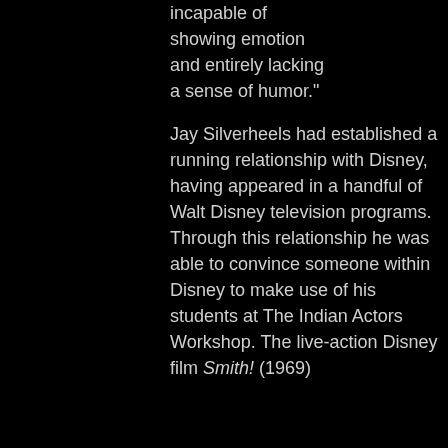incapable of showing emotion and entirely lacking a sense of humor."

Jay Silverheels had established a running relationship with Disney, having appeared in a handful of Walt Disney television programs. Through this relationship he was able to convince someone within Disney to make use of his students at The Indian Actors Workshop. The live-action Disney film Smith! (1969)